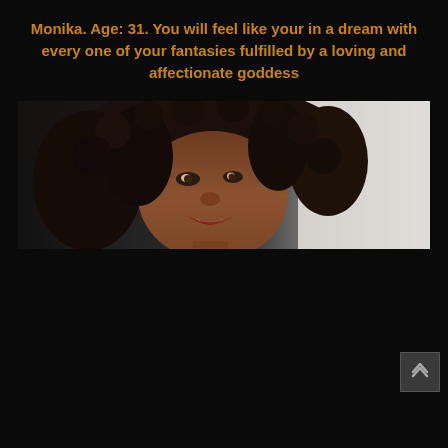Monika. Age: 31. You will feel like your in a dream with every one of your fantasies fulfilled by a loving and affectionate goddess
[Figure (photo): Close-up portrait photo of a woman with curly dark hair, dark complexion, looking toward the camera. Background is bright/white on the right side.]